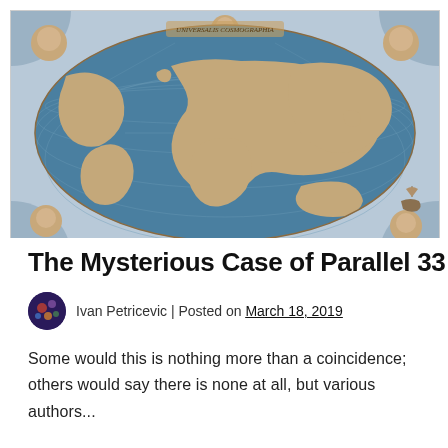[Figure (map): An antique/historical world map illustration in oval projection, rendered in blue and brown tones with decorative wind-head figures in the corners, resembling a Renaissance-era cartographic illustration.]
The Mysterious Case of Parallel 33
Ivan Petricevic | Posted on March 18, 2019
Some would this is nothing more than a coincidence; others would say there is none at all, but various authors...